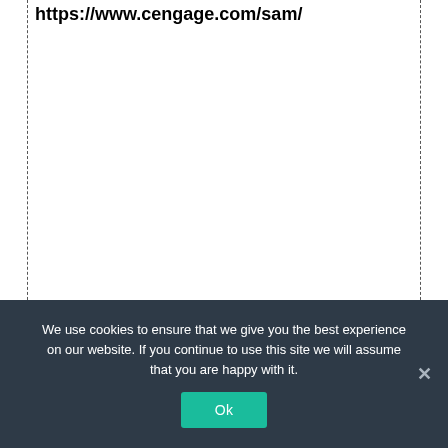https://www.cengage.com/sam/
[Figure (screenshot): White content area with dashed border on left and right sides, empty white space below URL]
We use cookies to ensure that we give you the best experience on our website. If you continue to use this site we will assume that you are happy with it.
[Figure (other): Teal Ok button and close X button in cookie consent overlay]